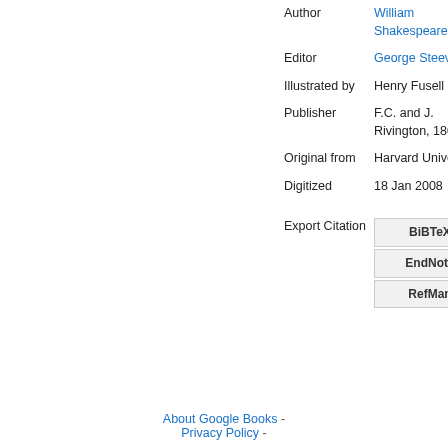| Author | William Shakespeare |
| Editor | George Steevens |
| Illustrated by | Henry Fusell |
| Publisher | F.C. and J. Rivington, 1805 |
| Original from | Harvard University |
| Digitized | 18 Jan 2008 |
Export Citation
BiBTeX | EndNote | RefMan
About Google Books - Privacy Policy -